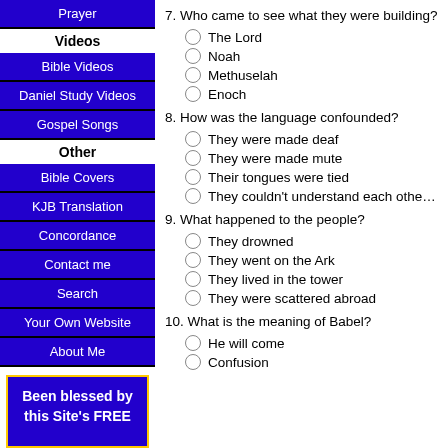Prayer
Videos
Bible Videos
Daniel Study Videos
Gospel Songs
Other
Bible Covers
KJB Translation
Concordance
Contact me
Search
Your Own Website
About Me
Been blessed by this Site's FREE
7. Who came to see what they were building?
The Lord
Noah
Methuselah
Enoch
8. How was the language confounded?
They were made deaf
They were made mute
Their tongues were tied
They couldn't understand each other
9. What happened to the people?
They drowned
They went on the Ark
They lived in the tower
They were scattered abroad
10. What is the meaning of Babel?
He will come
Confusion